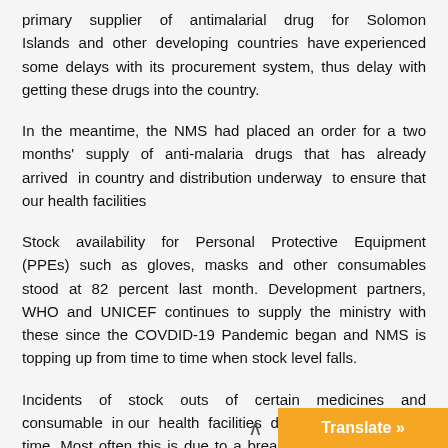primary supplier of antimalarial drug for Solomon Islands and other developing countries have experienced some delays with its procurement system, thus delay with getting these drugs into the country.
In the meantime, the NMS had placed an order for a two months' supply of anti-malaria drugs that has already arrived in country and distribution underway to ensure that our health facilities
Stock availability for Personal Protective Equipment (PPEs) such as gloves, masks and other consumables stood at 82 percent last month. Development partners, WHO and UNICEF continues to supply the ministry with these since the COVDID-19 Pandemic began and NMS is topping up from time to time when stock level falls.
Incidents of stock outs of certain medicines and consumable in our health facilities do occur from time to time. Most often this is due to a break in the supply chain between the National Medical Store, second level medical stores and our health facilities which often rely on unreliable shipping schedule and stock management at each facility. However as long as the s...